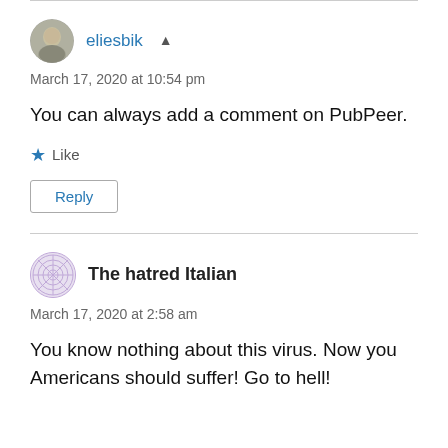eliesbik ▲
March 17, 2020 at 10:54 pm
You can always add a comment on PubPeer.
★ Like
Reply
The hatred Italian
March 17, 2020 at 2:58 am
You know nothing about this virus. Now you Americans should suffer! Go to hell!